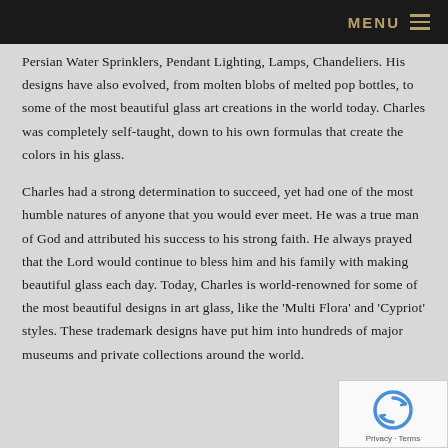MENU
Persian Water Sprinklers, Pendant Lighting, Lamps, Chandeliers. His designs have also evolved, from molten blobs of melted pop bottles, to some of the most beautiful glass art creations in the world today. Charles was completely self-taught, down to his own formulas that create the colors in his glass.
Charles had a strong determination to succeed, yet had one of the most humble natures of anyone that you would ever meet. He was a true man of God and attributed his success to his strong faith. He always prayed that the Lord would continue to bless him and his family with making beautiful glass each day. Today, Charles is world-renowned for some of the most beautiful designs in art glass, like the 'Multi Flora' and 'Cypriot' styles. These trademark designs have put him into hundreds of major museums and private collections around the world.